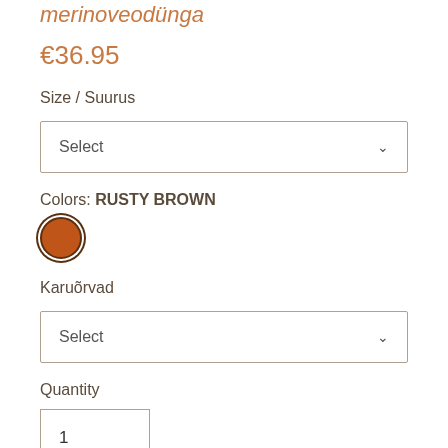merinoveodünga
€36.95
Size / Suurus
Select
Colors: RUSTY BROWN
[Figure (illustration): Rusty brown color swatch circle with dark border]
Karuõrvad
Select
Quantity
1
Add to Cart